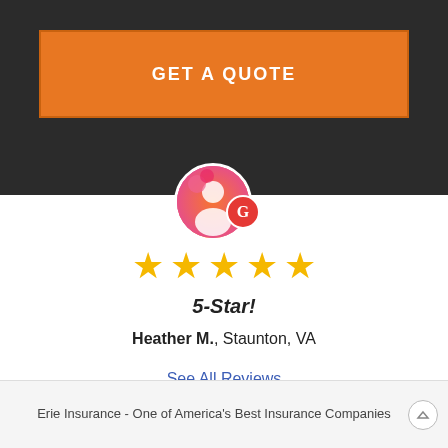GET A QUOTE
[Figure (photo): Circular avatar photo of a person with colorful background, with a red Google 'G' badge overlaid at bottom right]
[Figure (infographic): Five gold stars representing a 5-star rating]
5-Star!
Heather M., Staunton, VA
See All Reviews
Erie Insurance - One of America's Best Insurance Companies